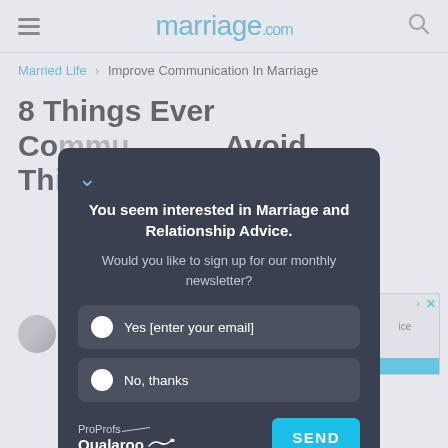marriage.com
Married Life › Improve Communication In Marriage
8 Things Every Couple... Avoid The...
[Figure (screenshot): Qualaroo newsletter signup modal overlay on marriage.com article page. Modal reads: 'You seem interested in Marriage and Relationship Advice. Would you like to sign up for our monthly newsletter?' with Yes [enter your email] and No, thanks radio options, ProProfs Qualaroo logo, and SEND button.]